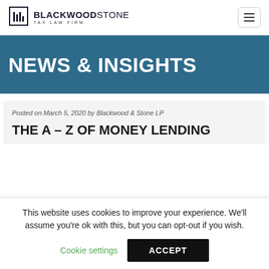BLACKWOODSTONE TAX LAW FIRM
NEWS & INSIGHTS
Posted on March 5, 2020 by Blackwood & Stone LP
THE A – Z OF MONEY LENDING
This website uses cookies to improve your experience. We'll assume you're ok with this, but you can opt-out if you wish. Cookie settings ACCEPT